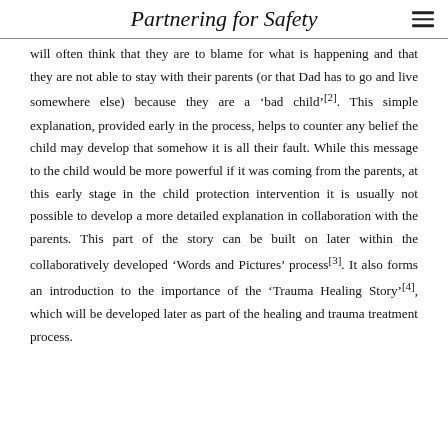Partnering for Safety
will often think that they are to blame for what is happening and that they are not able to stay with their parents (or that Dad has to go and live somewhere else) because they are a ‘bad child’[2]. This simple explanation, provided early in the process, helps to counter any belief the child may develop that somehow it is all their fault. While this message to the child would be more powerful if it was coming from the parents, at this early stage in the child protection intervention it is usually not possible to develop a more detailed explanation in collaboration with the parents. This part of the story can be built on later within the collaboratively developed ‘Words and Pictures’ process[3]. It also forms an introduction to the importance of the ‘Trauma Healing Story’[4], which will be developed later as part of the healing and trauma treatment process.